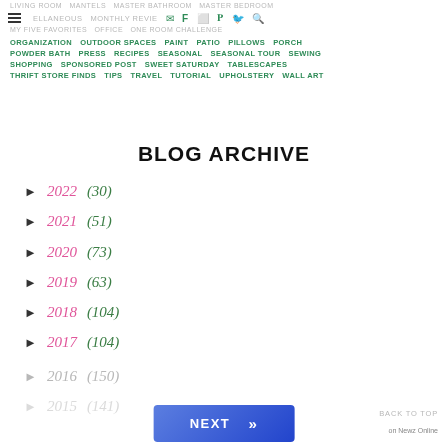LIVING ROOM  MANTELS  MASTER BATHROOM  MASTER BEDROOM
MISCELLANEOUS  MONTHLY REVIEWS  MY FORD [icons]  ORGANIZATION  OUTDOOR SPACES  PAINT  PATIO  PILLOWS  PORCH  POWDER BATH  PRESS  RECIPES  SEASONAL  SEASONAL TOUR  SEWING  SHOPPING  SPONSORED POST  SWEET SATURDAY  TABLESCAPES  THRIFT STORE FINDS  TIPS  TRAVEL  TUTORIAL  UPHOLSTERY  WALL ART
BLOG ARCHIVE
► 2022 (30)
► 2021 (51)
► 2020 (73)
► 2019 (63)
► 2018 (104)
► 2017 (104)
► 2016 (150)
► 2015 (141)
NEXT >>   BACK TO TOP   on Newz Online